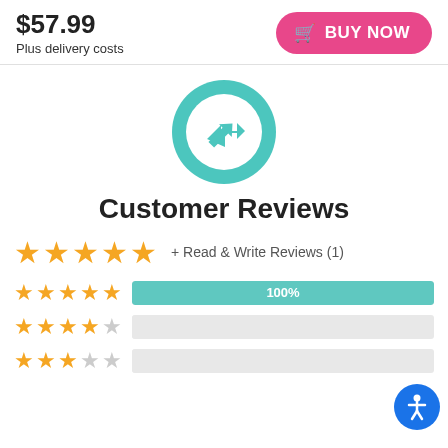$57.99
Plus delivery costs
BUY NOW
[Figure (illustration): Teal/turquoise circle with a white arrow pointing upper-right in the center]
Customer Reviews
★★★★★ + Read & Write Reviews (1)
★★★★★ 100%
★★★★☆ 0%
★★★☆☆ 0%